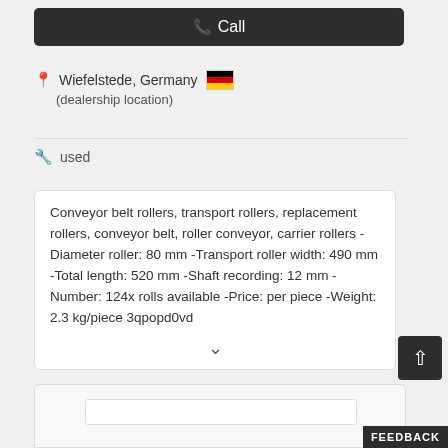📞 Call
Wiefelstede, Germany 🇩🇪
(dealership location)
used
Conveyor belt rollers, transport rollers, replacement rollers, conveyor belt, roller conveyor, carrier rollers - Diameter roller: 80 mm -Transport roller width: 490 mm -Total length: 520 mm -Shaft recording: 12 mm -Number: 124x rolls available -Price: per piece -Weight: 2.3 kg/piece 3qpopd0vd